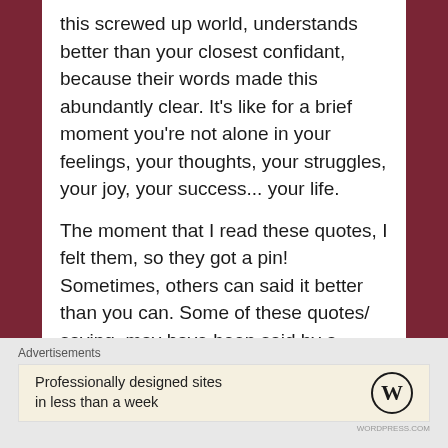this screwed up world, understands better than your closest confidant, because their words made this abundantly clear. It's like for a brief moment you're not alone in your feelings, your thoughts, your struggles, your joy, your success... your life.
The moment that I read these quotes, I felt them, so they got a pin! Sometimes, others can said it better than you can. Some of these quotes/ saying, may have been said by a person of some type of influence. While there are others that were written to move you, create a feeling inside you. And for that very reason, I saved them and wanted to share them with you
Advertisements
[Figure (other): WordPress advertisement banner: 'Professionally designed sites in less than a week' with WordPress logo]